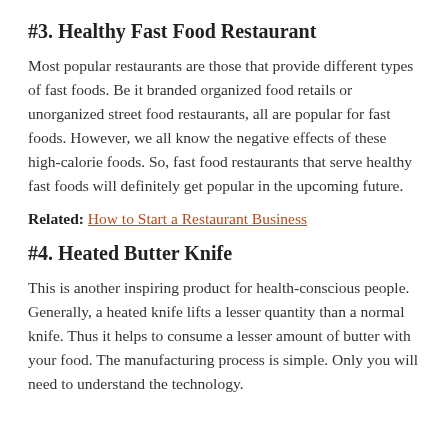#3. Healthy Fast Food Restaurant
Most popular restaurants are those that provide different types of fast foods. Be it branded organized food retails or unorganized street food restaurants, all are popular for fast foods. However, we all know the negative effects of these high-calorie foods. So, fast food restaurants that serve healthy fast foods will definitely get popular in the upcoming future.
Related: How to Start a Restaurant Business
#4. Heated Butter Knife
This is another inspiring product for health-conscious people. Generally, a heated knife lifts a lesser quantity than a normal knife. Thus it helps to consume a lesser amount of butter with your food. The manufacturing process is simple. Only you will need to understand the technology.